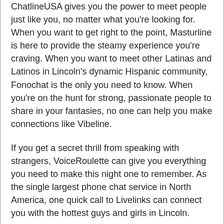ChatlineUSA gives you the power to meet people just like you, no matter what you're looking for. When you want to get right to the point, Masturline is here to provide the steamy experience you're craving. When you want to meet other Latinas and Latinos in Lincoln's dynamic Hispanic community, Fonochat is the only you need to know. When you're on the hunt for strong, passionate people to share in your fantasies, no one can help you make connections like Vibeline.
If you get a secret thrill from speaking with strangers, VoiceRoulette can give you everything you need to make this night one to remember. As the single largest phone chat service in North America, one quick call to Livelinks can connect you with the hottest guys and girls in Lincoln.
Connecting horny singles across Lincoln who are ready to satisfy desires and get a little dirty, you have everything you need to fulfill your wildest fantasies. The name's no lie: when you want to meet red hot singles looking to chat, flirt, and get down, RedHot can connect to you to your every fantasy. Offering a party line that gives you your choice of Lincoln men and women, ChatlineUSA can help you meet your perfect